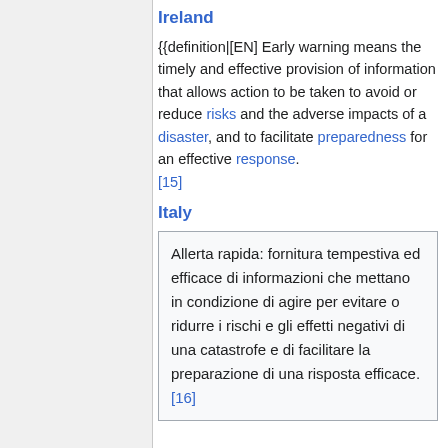Ireland
{{definition|[EN] Early warning means the timely and effective provision of information that allows action to be taken to avoid or reduce risks and the adverse impacts of a disaster, and to facilitate preparedness for an effective response.[15]
Italy
Allerta rapida: fornitura tempestiva ed efficace di informazioni che mettano in condizione di agire per evitare o ridurre i rischi e gli effetti negativi di una catastrofe e di facilitare la preparazione di una risposta efficace. [16]